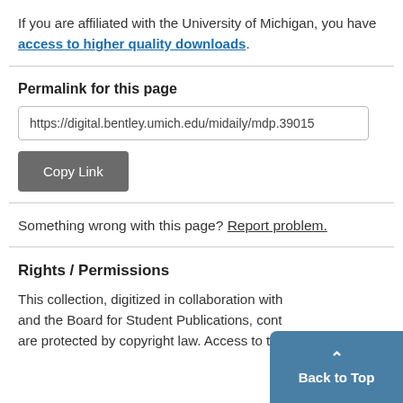If you are affiliated with the University of Michigan, you have access to higher quality downloads.
Permalink for this page
https://digital.bentley.umich.edu/midaily/mdp.39015
Copy Link
Something wrong with this page? Report problem.
Rights / Permissions
This collection, digitized in collaboration with and the Board for Student Publications, cont are protected by copyright law. Access to the